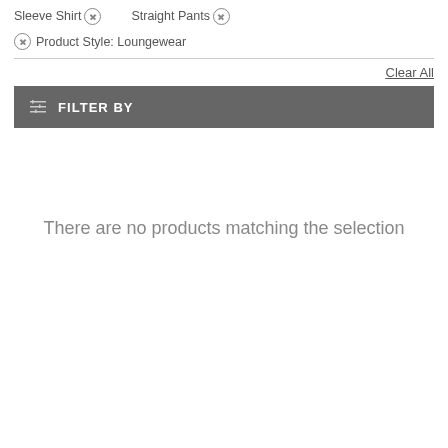Sleeve Shirt ⊗   Straight Pants ⊗
⊗ Product Style: Loungewear
Clear All
FILTER BY
There are no products matching the selection